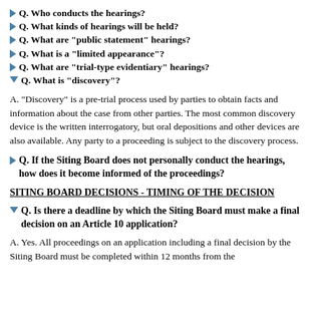Q. Who conducts the hearings?
Q. What kinds of hearings will be held?
Q. What are "public statement" hearings?
Q. What is a "limited appearance"?
Q. What are "trial-type evidentiary" hearings?
Q. What is "discovery"?
A. "Discovery" is a pre-trial process used by parties to obtain facts and information about the case from other parties. The most common discovery device is the written interrogatory, but oral depositions and other devices are also available. Any party to a proceeding is subject to the discovery process.
Q. If the Siting Board does not personally conduct the hearings, how does it become informed of the proceedings?
SITING BOARD DECISIONS - TIMING OF THE DECISION
Q. Is there a deadline by which the Siting Board must make a final decision on an Article 10 application?
A. Yes. All proceedings on an application including a final decision by the Siting Board must be completed within 12 months from the